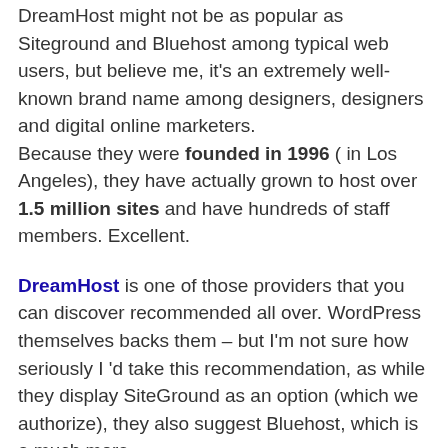DreamHost might not be as popular as Siteground and Bluehost among typical web users, but believe me, it's an extremely well-known brand name among designers, designers and digital online marketers. Because they were founded in 1996 ( in Los Angeles), they have actually grown to host over 1.5 million sites and have hundreds of staff members. Excellent.
DreamHost is one of those providers that you can discover recommended all over. WordPress themselves backs them – but I'm not sure how seriously I 'd take this recommendation, as while they display SiteGround as an option (which we authorize), they also suggest Bluehost, which is a much more